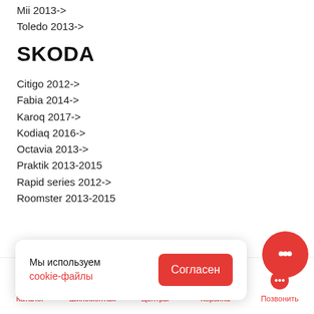Mii 2013->
Toledo 2013->
SKODA
Citigo 2012->
Fabia 2014->
Karoq 2017->
Kodiaq 2016->
Octavia 2013->
Praktik 2013-2015
Rapid series 2012->
Roomster 2013-2015
Мы используем cookie-файлы
Согласен
Каталог | Шиномонтаж | Центры | Корзина | Позвонить